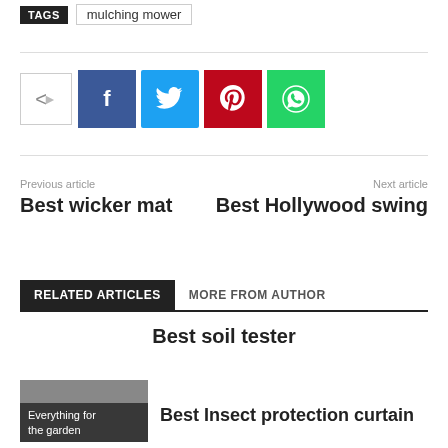TAGS   mulching mower
[Figure (infographic): Social share buttons: share icon, Facebook (blue), Twitter (cyan), Pinterest (red), WhatsApp (green)]
Previous article
Best wicker mat
Next article
Best Hollywood swing
RELATED ARTICLES   MORE FROM AUTHOR
Best soil tester
[Figure (photo): Image thumbnail with overlay text: Everything for the garden]
Best Insect protection curtain